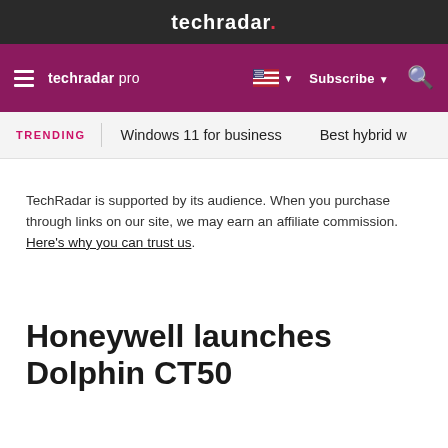techradar.
techradar pro | Subscribe | Search
TRENDING | Windows 11 for business | Best hybrid w
TechRadar is supported by its audience. When you purchase through links on our site, we may earn an affiliate commission. Here's why you can trust us.
Honeywell launches Dolphin CT50